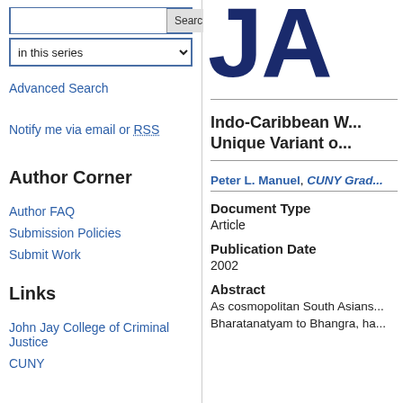in this series [dropdown]
Advanced Search
Notify me via email or RSS
Author Corner
Author FAQ
Submission Policies
Submit Work
Links
John Jay College of Criminal Justice
CUNY
[Figure (logo): Large bold dark navy letters 'JA' (partial journal logo)]
Indo-Caribbean W... Unique Variant o...
Peter L. Manuel, CUNY Grad...
Document Type
Article
Publication Date
2002
Abstract
As cosmopolitan South Asians... Bharatanatyam to Bhangra, ha...